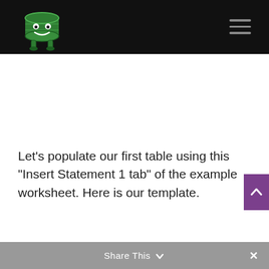[Figure (logo): Green smiling database character mascot logo on black header bar]
Let’s populate our first table using this “Insert Statement 1 tab” of the example worksheet. Here is our template.
Share This ∨ ×